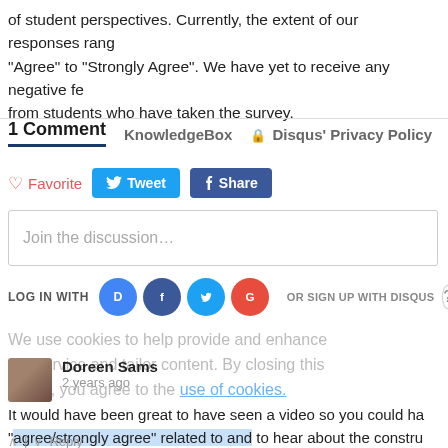of student perspectives. Currently, the extent of our responses rang... "Agree" to "Strongly Agree". We have yet to receive any negative fe... from students who have taken the survey.
1 Comment   KnowledgeBox   🔒 Disqus' Privacy Policy
♡ Favorite   Tweet   f Share
Join the discussion…
LOG IN WITH   OR SIGN UP WITH DISQUS ?
Doreen Sams
2 years ago
We use cookies to help provide and enhance our service and tailor content. By closing this message, you agree to the use of cookies.
It would have been great to have seen a video so you could ha... "agree/strongly agree" related to and to hear about the constru... forward to hearing about your finished project.
Reply